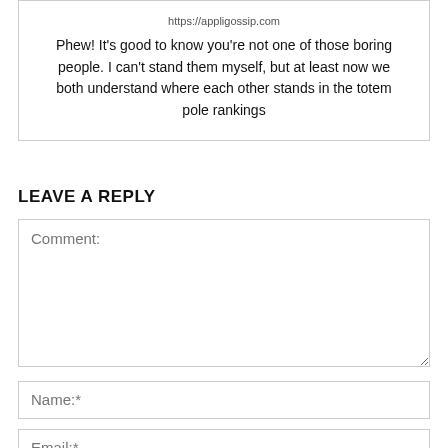https://appligossip.com
Phew! It's good to know you're not one of those boring people. I can't stand them myself, but at least now we both understand where each other stands in the totem pole rankings
LEAVE A REPLY
Comment:
Name:*
Email:*